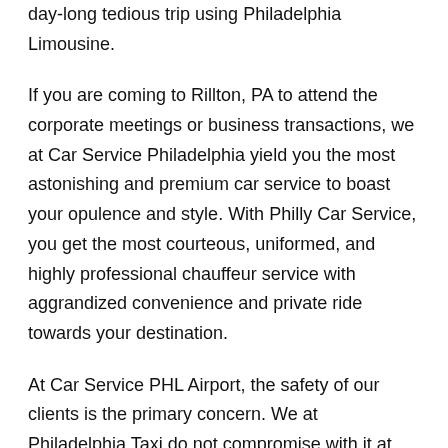day-long tedious trip using Philadelphia Limousine.
If you are coming to Rillton, PA to attend the corporate meetings or business transactions, we at Car Service Philadelphia yield you the most astonishing and premium car service to boast your opulence and style. With Philly Car Service, you get the most courteous, uniformed, and highly professional chauffeur service with aggrandized convenience and private ride towards your destination.
At Car Service PHL Airport, the safety of our clients is the primary concern. We at Philadelphia Taxi do not compromise with it at any level and maintain all the safety and security concerns as per the state's